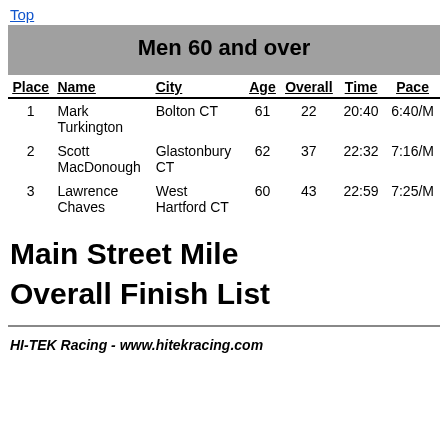Top
| Place | Name | City | Age | Overall | Time | Pace |
| --- | --- | --- | --- | --- | --- | --- |
| 1 | Mark Turkington | Bolton CT | 61 | 22 | 20:40 | 6:40/M |
| 2 | Scott MacDonough | Glastonbury CT | 62 | 37 | 22:32 | 7:16/M |
| 3 | Lawrence Chaves | West Hartford CT | 60 | 43 | 22:59 | 7:25/M |
Main Street Mile
Overall Finish List
HI-TEK Racing - www.hitekracing.com